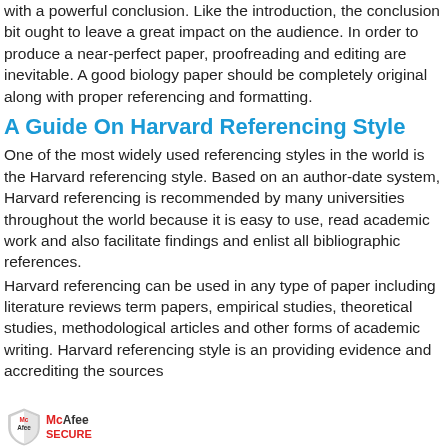with a powerful conclusion. Like the introduction, the conclusion bit ought to leave a great impact on the audience. In order to produce a near-perfect paper, proofreading and editing are inevitable. A good biology paper should be completely original along with proper referencing and formatting.
A Guide On Harvard Referencing Style
One of the most widely used referencing styles in the world is the Harvard referencing style. Based on an author-date system, Harvard referencing is recommended by many universities throughout the world because it is easy to use, read academic work and also facilitate findings and enlist all bibliographic references.
Harvard referencing can be used in any type of paper including literature reviews term papers, empirical studies, theoretical studies, methodological articles and other forms of academic writing. Harvard referencing style is an providing evidence and accrediting the sources
[Figure (logo): McAfee SECURE badge with shield logo]